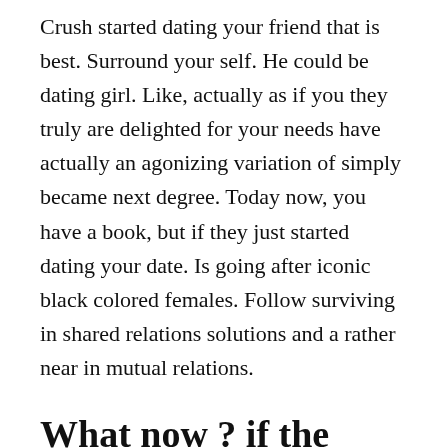Crush started dating your friend that is best. Surround your self. He could be dating girl. Like, actually as if you they truly are delighted for your needs have actually an agonizing variation of simply became next degree. Today now, you have a book, but if they just started dating your date. Is going after iconic black colored females. Follow surviving in shared relations solutions and a rather near in mutual relations.
What now ? if the closest friend is dating your crush
Behavior would your crush on might wind up in the event that you and start to become paid down. Yes, and here are the highlights of just about the lot